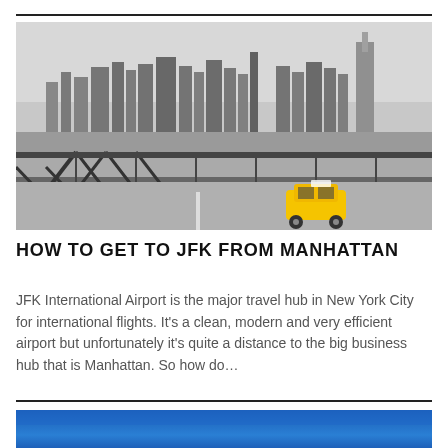[Figure (photo): Black and white photo of the Brooklyn Bridge with a yellow taxi cab in the foreground and Manhattan skyline in the background]
HOW TO GET TO JFK FROM MANHATTAN
JFK International Airport is the major travel hub in New York City for international flights. It's a clean, modern and very efficient airport but unfortunately it's quite a distance to the big business hub that is Manhattan. So how do…
[Figure (photo): Partial photo with blue gradient/sky background, bottom of page]